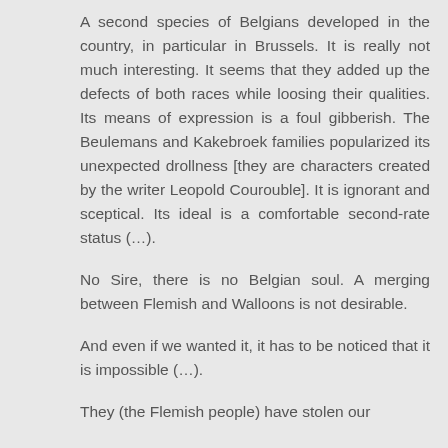A second species of Belgians developed in the country, in particular in Brussels. It is really not much interesting. It seems that they added up the defects of both races while loosing their qualities. Its means of expression is a foul gibberish. The Beulemans and Kakebroek families popularized its unexpected drollness [they are characters created by the writer Leopold Courouble]. It is ignorant and sceptical. Its ideal is a comfortable second-rate status (…).
No Sire, there is no Belgian soul. A merging between Flemish and Walloons is not desirable.
And even if we wanted it, it has to be noticed that it is impossible (…).
They (the Flemish people) have stolen our